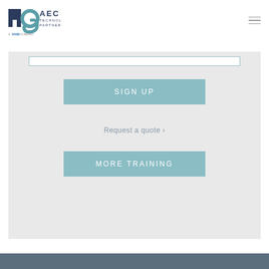[Figure (logo): MG AEC Technology Partners logo - a company that is a Rand company. Features stylized 'mg' letters in dark teal/navy and 'AEC TECHNOLOGY PARTNERS' text in dark navy.]
[Figure (other): Hamburger menu icon (three horizontal lines) in gray]
[Figure (screenshot): Main content area with light gray background containing: a white input field at top, a teal 'SIGN UP' button, a 'Request a quote >' link, and a teal 'MORE TRAINING' button]
SIGN UP
Request a quote ›
MORE TRAINING